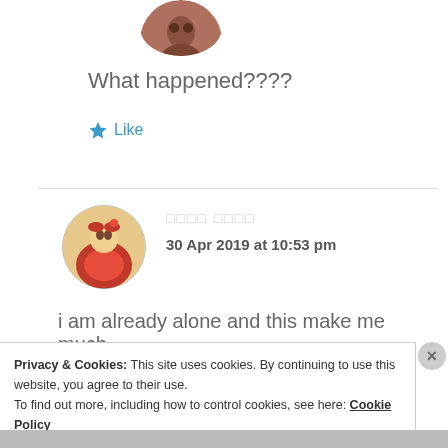[Figure (photo): Circular avatar image of a person, partially shown at top of page]
What happened????
★ Like
[Figure (photo): Circular avatar image of a woman in traditional Indian attire]
□□□□ □□□□
30 Apr 2019 at 10:53 pm
i am already alone and this make me much
Privacy & Cookies: This site uses cookies. By continuing to use this website, you agree to their use.
To find out more, including how to control cookies, see here: Cookie Policy
Close and accept